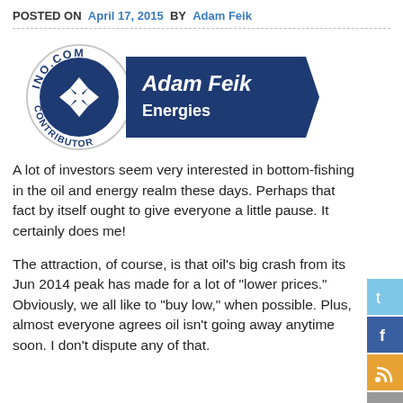POSTED ON April 17, 2015 BY Adam Feik
[Figure (logo): INO.COM Contributor badge circle with Adam Feik Energies banner ribbon]
A lot of investors seem very interested in bottom-fishing in the oil and energy realm these days. Perhaps that fact by itself ought to give everyone a little pause. It certainly does me!
The attraction, of course, is that oil's big crash from its Jun 2014 peak has made for a lot of "lower prices." Obviously, we all like to "buy low," when possible. Plus, almost everyone agrees oil isn't going away anytime soon. I don't dispute any of that.